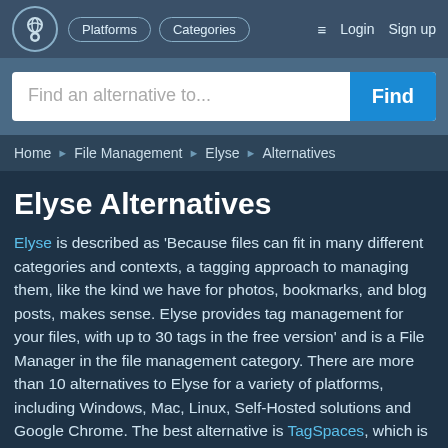Platforms   Categories   Login   Sign up
Find an alternative to...   Find
Home ▶ File Management ▶ Elyse ▶ Alternatives
Elyse Alternatives
Elyse is described as 'Because files can fit in many different categories and contexts, a tagging approach to managing them, like the kind we have for photos, bookmarks, and blog posts, makes sense. Elyse provides tag management for your files, with up to 30 tags in the free version' and is a File Manager in the file management category. There are more than 10 alternatives to Elyse for a variety of platforms, including Windows, Mac, Linux, Self-Hosted solutions and Google Chrome. The best alternative is TagSpaces, which is both free and Open Source. Other great apps like Elyse are Tabbles, Keepmark, RecentX and Tagstoo.